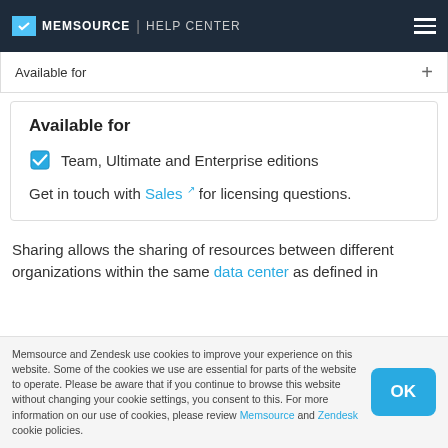MEMSOURCE | HELP CENTER
Available for
Available for
Team, Ultimate and Enterprise editions
Get in touch with Sales for licensing questions.
Sharing allows the sharing of resources between different organizations within the same data center as defined in
Memsource and Zendesk use cookies to improve your experience on this website. Some of the cookies we use are essential for parts of the website to operate. Please be aware that if you continue to browse this website without changing your cookie settings, you consent to this. For more information on our use of cookies, please review Memsource and Zendesk cookie policies.